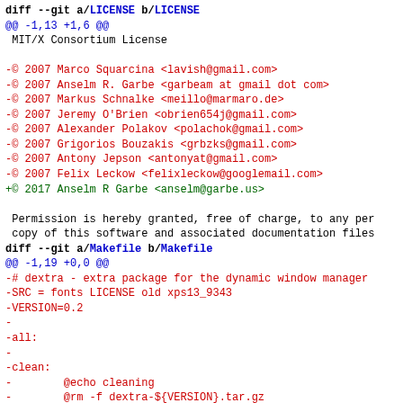diff --git a/LICENSE b/LICENSE
@@ -1,13 +1,6 @@
 MIT/X Consortium License

-© 2007 Marco Squarcina <lavish@gmail.com>
-© 2007 Anselm R. Garbe <garbeam at gmail dot com>
-© 2007 Markus Schnalke <meillo@marmaro.de>
-© 2007 Jeremy O'Brien <obrien654j@gmail.com>
-© 2007 Alexander Polakov <polachok@gmail.com>
-© 2007 Grigorios Bouzakis <grbzks@gmail.com>
-© 2007 Antony Jepson <antonyat@gmail.com>
-© 2007 Felix Leckow <felixleckow@googlemail.com>
+© 2017 Anselm R Garbe <anselm@garbe.us>

 Permission is hereby granted, free of charge, to any per
 copy of this software and associated documentation files
diff --git a/Makefile b/Makefile
@@ -1,19 +0,0 @@
-# dextra - extra package for the dynamic window manager
-SRC = fonts LICENSE old xps13_9343
-VERSION=0.2
-
-all:
-
-clean:
-	@echo cleaning
-	@rm -f dextra-${VERSION}.tar.gz
-
-dist: clean
-	@echo creating dist tarball